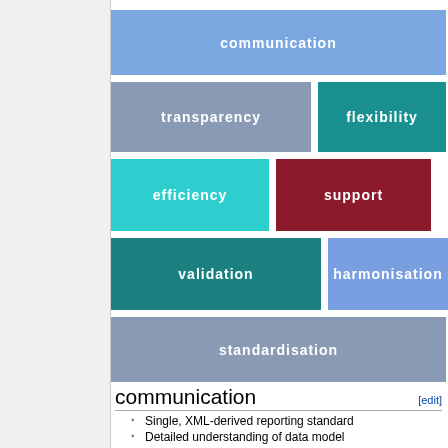[Figure (infographic): Grid of colored blocks representing key concepts: communication (blue, top, full width), transparency (grey-blue) and flexibility (teal) in row 2, efficiency (cyan), support (dark red), test (grey) in row 3, validation (dark teal) and harmonisation (blue) in row 4, standardisation (grey-blue, full width) in row 5]
communication
Single, XML-derived reporting standard
Detailed understanding of data model
Interoperability with existing XML schemas
Several languages can be incorporated
transparency